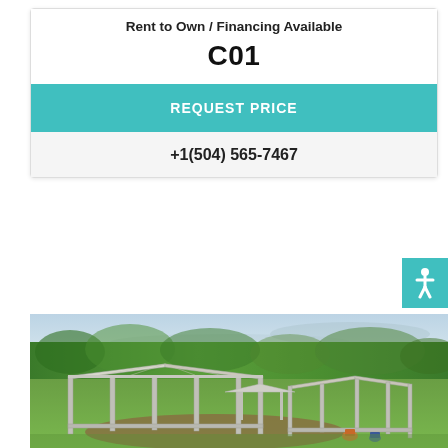Rent to Own / Financing Available
C01
REQUEST PRICE
+1(504) 565-7467
[Figure (photo): Metal carport/shelter structure with peaked roof on grass, green trees in background]